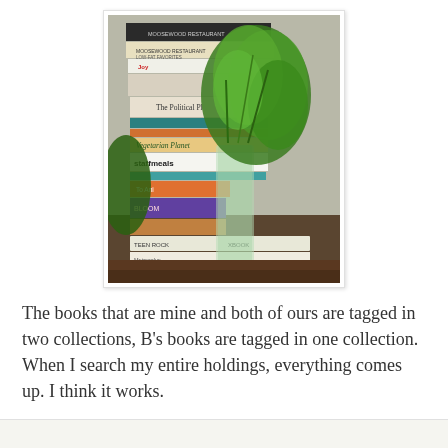[Figure (photo): A photograph showing a stack of books on a wooden surface with a glass vase containing green plants/flowers placed in front of and among the books. Visible book titles include 'Moosewood Restaurant Daily Special', 'Moosewood Restaurant Low-Fat Favorites', 'The Political...', 'Vegetarian Planet', 'staffmeals', and others.]
The books that are mine and both of ours are tagged in two collections, B's books are tagged in one collection. When I search my entire holdings, everything comes up. I think it works.